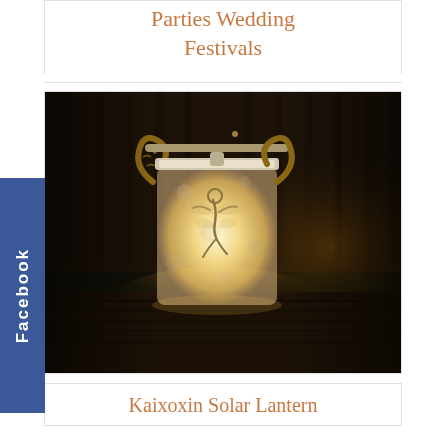Parties Wedding Festivals
[Figure (photo): A glowing solar lantern with a fairy design etched on frosted glass, sitting on a dark wooden table outdoors at night. The lantern emits warm golden light and has a rope handle.]
Kaixoxin Solar Lantern